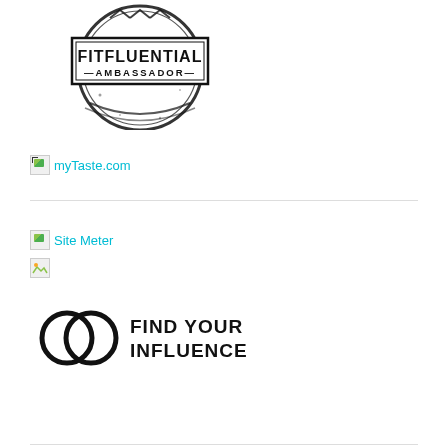[Figure (logo): FitFluential Ambassador stamp logo — circular black ink stamp design with text FITFLUENTIAL AMBASSADOR inside a rectangular banner]
[Figure (logo): myTaste.com logo/badge — broken image icon followed by myTaste.com text link in teal/cyan color]
[Figure (logo): Site Meter logo — small broken image icon followed by Site Meter text link in teal/cyan color, with additional small broken image icon below]
[Figure (logo): Find Your Influence logo — two interlocked circles icon with text FIND YOUR INFLUENCE in bold black]